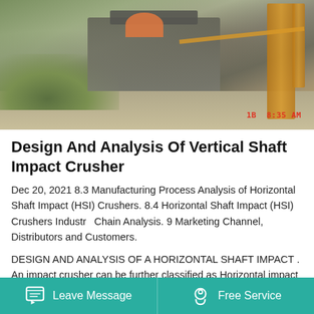[Figure (photo): Outdoor photograph of industrial crushing/mining machinery on a job site, with vegetation on the left, orange scaffolding on the right, and a red timestamp reading '18 8:35 AM' in the bottom right corner.]
Design And Analysis Of Vertical Shaft Impact Crusher
Dec 20, 2021 8.3 Manufacturing Process Analysis of Horizontal Shaft Impact (HSI) Crushers. 8.4 Horizontal Shaft Impact (HSI) Crushers Industry Chain Analysis. 9 Marketing Channel, Distributors and Customers.
DESIGN AND ANALYSIS OF A HORIZONTAL SHAFT IMPACT . An impact crusher can be further classified as Horizontal impact crusher (HSI) and vertical shaft impact crusher (VSI) based on the
Leave Message   Free Service